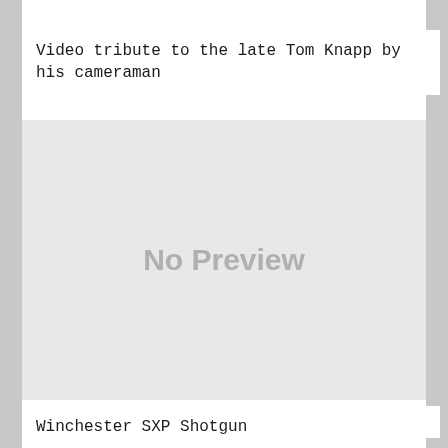Video tribute to the late Tom Knapp by his cameraman
[Figure (other): No Preview placeholder image - grey rectangle with 'No Preview' text]
Winchester SXP Shotgun